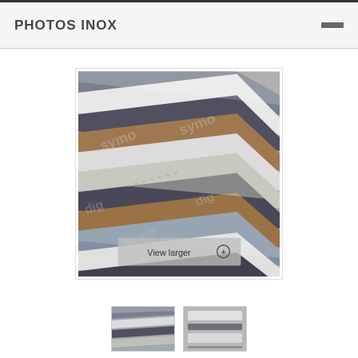PHOTOS INOX
[Figure (photo): Close-up mosaic tile photo showing horizontal strips of metallic steel, translucent white glass, rough stone, and decorative silver tiles with a watermark, with a 'View larger' overlay button]
[Figure (photo): Thumbnail 1: close-up of metallic and glass mosaic strips]
[Figure (photo): Thumbnail 2: another angle of mosaic tile strips]